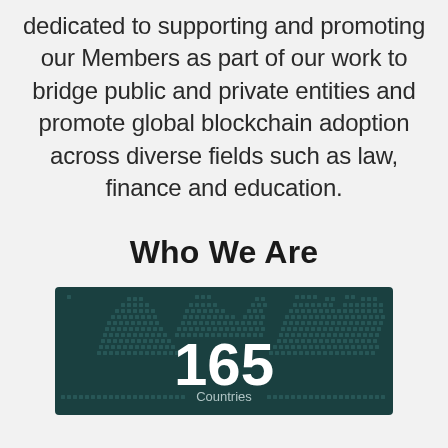dedicated to supporting and promoting our Members as part of our work to bridge public and private entities and promote global blockchain adoption across diverse fields such as law, finance and education.
Who We Are
[Figure (infographic): Dark teal/green background with a world map made of small squares/dots pattern, showing the number 165 in large bold white text in the center, with partial text below.]